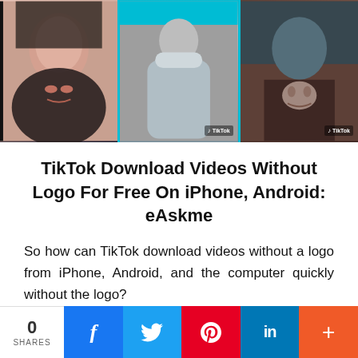[Figure (photo): Three TikTok video thumbnails side by side: a woman's face close-up, a person in grey hoodie, and a person holding a small cat. TikTok watermarks visible on the right two panels.]
TikTok Download Videos Without Logo For Free On iPhone, Android: eAskme
So how can TikTok download videos without a logo from iPhone, Android, and the computer quickly without the logo?
Let's explore together!
0 SHARES  [Facebook] [Twitter] [Pinterest] [LinkedIn] [More]